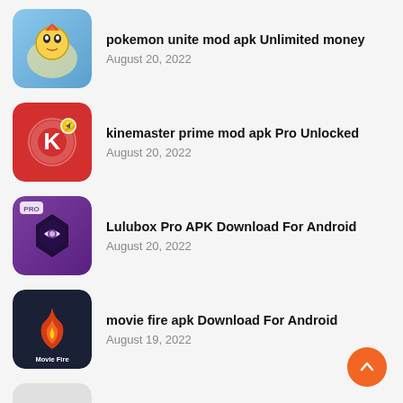pokemon unite mod apk Unlimited money
August 20, 2022
kinemaster prime mod apk Pro Unlocked
August 20, 2022
Lulubox Pro APK Download For Android
August 20, 2022
movie fire apk Download For Android
August 19, 2022
Prequel mod APK All Unlocked for Android
August 19, 2022